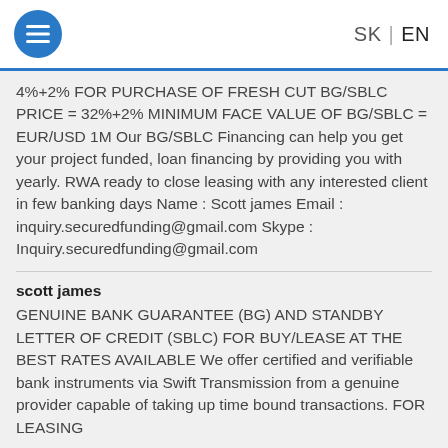SK | EN
4%+2% FOR PURCHASE OF FRESH CUT BG/SBLC PRICE = 32%+2% MINIMUM FACE VALUE OF BG/SBLC = EUR/USD 1M Our BG/SBLC Financing can help you get your project funded, loan financing by providing you with yearly. RWA ready to close leasing with any interested client in few banking days Name : Scott james Email : inquiry.securedfunding@gmail.com Skype : Inquiry.securedfunding@gmail.com
scott james
GENUINE BANK GUARANTEE (BG) AND STANDBY LETTER OF CREDIT (SBLC) FOR BUY/LEASE AT THE BEST RATES AVAILABLE We offer certified and verifiable bank instruments via Swift Transmission from a genuine provider capable of taking up time bound transactions. FOR LEASING